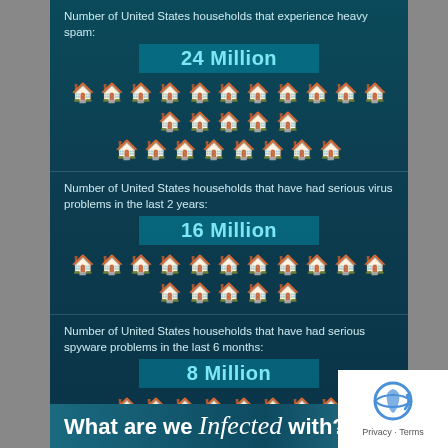Number of United States households that experience heavy spam:
24 Million
[Figure (infographic): 24 house icons representing 24 million US households that experience heavy spam]
Number of United States households that have had serious virus problems in the last 2 years:
16 Million
[Figure (infographic): 16 house icons representing 16 million US households]
Number of United States households that have had serious spyware problems in the last 6 months:
8 Million
[Figure (infographic): 8 house icons representing 8 million US households]
Number of United States households that have lost money or had accounts misused because of malware:
1 Million
[Figure (infographic): 1 house icon representing 1 million US households]
What are we Infected with?